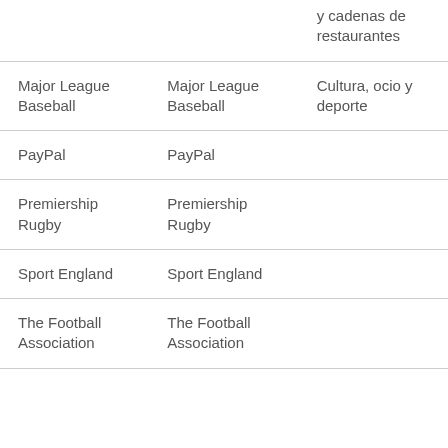|  |  | y cadenas de restaurantes |
| Major League Baseball | Major League Baseball | Cultura, ocio y deporte |
| PayPal | PayPal |  |
| Premiership Rugby | Premiership Rugby |  |
| Sport England | Sport England |  |
| The Football Association | The Football Association |  |